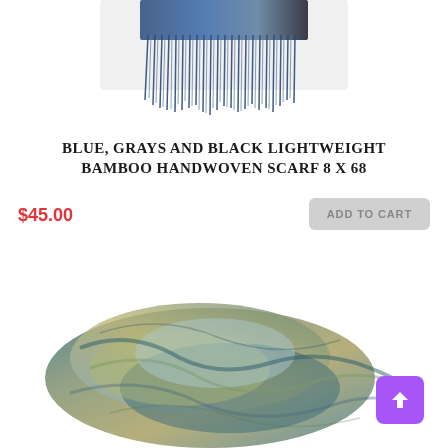[Figure (photo): Top portion of a blue, gray and black handwoven bamboo scarf with fringe detail, cropped at top of page]
BLUE, GRAYS AND BLACK LIGHTWEIGHT BAMBOO HANDWOVEN SCARF 8 X 68
$45.00
ADD TO CART
[Figure (photo): A looped/bunched handwoven bamboo scarf in teal, blue, gray, and olive/tan tones, shown on white background]